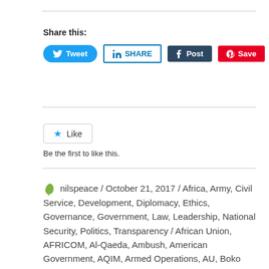Share this:
[Figure (screenshot): Social sharing buttons: Tweet (Twitter, blue), SHARE (LinkedIn, blue outline), Post (Tumblr, dark navy), Save (Pinterest, red)]
[Figure (screenshot): Like button with star icon]
Be the first to like this.
nilspeace / October 21, 2017 / Africa, Army, Civil Service, Development, Diplomacy, Ethics, Governance, Government, Law, Leadership, National Security, Politics, Transparency / African Union, AFRICOM, Al-Qaeda, Ambush, American Government, AQIM, Armed Operations, AU, Boko Haram, Chad, Child Trafficing, Congress, Counter-Terrorism, Diffa Region, Donald J. Trump, Government of Niger, Green Beret, Green...